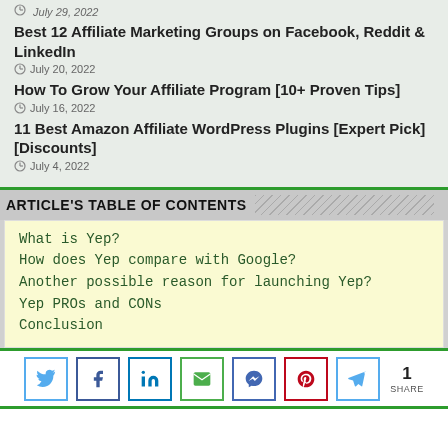July 29, 2022
Best 12 Affiliate Marketing Groups on Facebook, Reddit & LinkedIn
July 20, 2022
How To Grow Your Affiliate Program [10+ Proven Tips]
July 16, 2022
11 Best Amazon Affiliate WordPress Plugins [Expert Pick][Discounts]
July 4, 2022
ARTICLE'S TABLE OF CONTENTS
What is Yep?
How does Yep compare with Google?
Another possible reason for launching Yep?
Yep PROs and CONs
Conclusion
1 SHARE